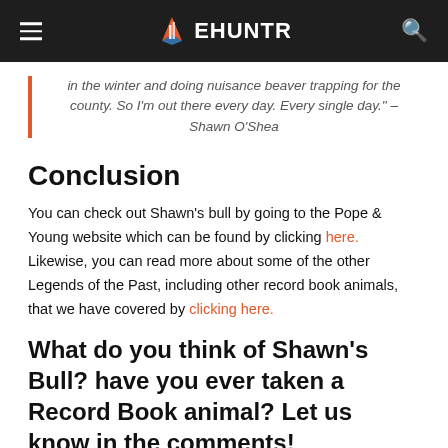EHUNTR
in the winter and doing nuisance beaver trapping for the county. So I'm out there every day. Every single day." – Shawn O'Shea
Conclusion
You can check out Shawn's bull by going to the Pope & Young website which can be found by clicking here. Likewise, you can read more about some of the other Legends of the Past, including other record book animals, that we have covered by clicking here.
What do you think of Shawn's Bull? have you ever taken a Record Book animal? Let us know in the comments!